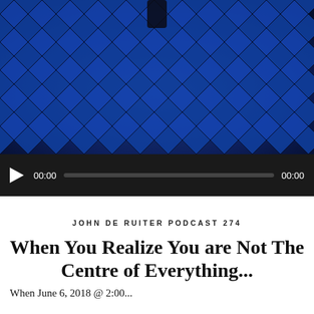[Figure (screenshot): Video thumbnail showing a blue geometric net/mesh pattern with dark diamond shapes, with a small dark figure silhouette at the top center]
[Figure (screenshot): Audio player bar with play button, timestamp 00:00 on left, progress bar, and 00:00 on right, on a dark/black background]
JOHN DE RUITER PODCAST 274
When You Realize You are Not The Centre of Everything...
When June 6, 2018 @ 2:00...